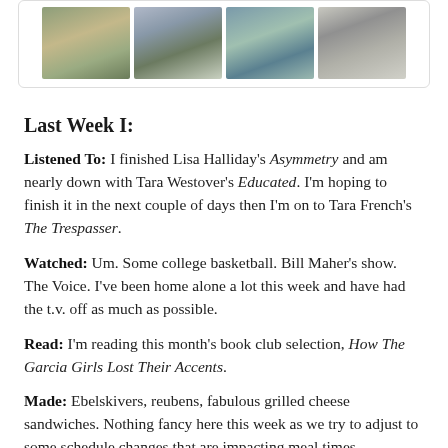[Figure (photo): A strip of four photos showing winter/flood scenes: icy river or lake, flooded trees, aerial water view, aerial road view]
Last Week I:
Listened To: I finished Lisa Halliday's Asymmetry and am nearly down with Tara Westover's Educated. I'm hoping to finish it in the next couple of days then I'm on to Tara French's The Trespasser.
Watched: Um. Some college basketball. Bill Maher's show. The Voice. I've been home alone a lot this week and have had the t.v. off as much as possible.
Read: I'm reading this month's book club selection, How The Garcia Girls Lost Their Accents.
Made: Ebelskivers, reubens, fabulous grilled cheese sandwiches. Nothing fancy here this week as we try to adjust to some schedule changes that are impacting meal times.